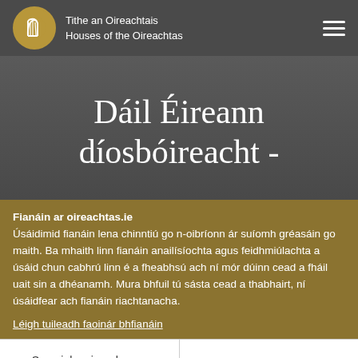Tithe an Oireachtais
Houses of the Oireachtas
Dáil Éireann díosbóireacht -
Fianáin ar oireachtas.ie
Úsáidimid fianáin lena chinntiú go n-oibríonn ár suíomh gréasáin go maith. Ba mhaith linn fianáin anailísíochta agus feidhmiúlachta a úsáid chun cabhrú linn é a fheabhsú ach ní mór dúinn cead a fháil uait sin a dhéanamh. Mura bhfuil tú sásta cead a thabhairt, ní úsáidfear ach fianáin riachtanacha. Léigh tuileadh faoinár bhfianáin
Socraigh sainroghanna fianán
Glac leis na fianáin go léir